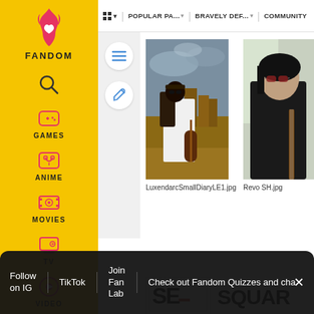[Figure (screenshot): Fandom website sidebar with yellow background showing FANDOM logo with flame icon, and navigation icons for Games, Anime, Movies, TV, Video, and user profile]
PAC-MAN ▾   POPULAR PA... ▾   BRAVELY DEF... ▾   COMMUNITY
[Figure (photo): Person with sunglasses playing guitar in a fantasy landscape — LuxendarcSmallDiaryLE1.jpg]
LuxendarcSmallDiaryLE1.jpg
[Figure (photo): Person with sunglasses holding guitar — Revo SH.jpg]
Revo SH.jpg
[Figure (logo): SE logo (Square Enix) in black box with red dash]
[Figure (logo): SQUARE text logo partial]
Follow on IG   TikTok   Join Fan Lab   Check out Fandom Quizzes and cha   ×